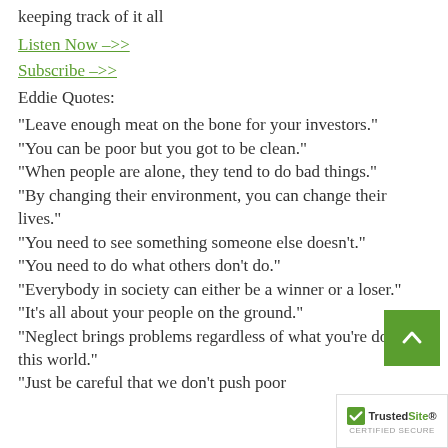keeping track of it all
Listen Now –>>
Subscribe –>>
Eddie Quotes:
“Leave enough meat on the bone for your investors.”
“You can be poor but you got to be clean.”
“When people are alone, they tend to do bad things.”
“By changing their environment, you can change their lives.”
“You need to see something someone else doesn’t.”
“You need to do what others don’t do.”
“Everybody in society can either be a winner or a loser.”
“It’s all about your people on the ground.”
“Neglect brings problems regardless of what you’re doing in this world.”
“Just be careful that we don’t push poor…